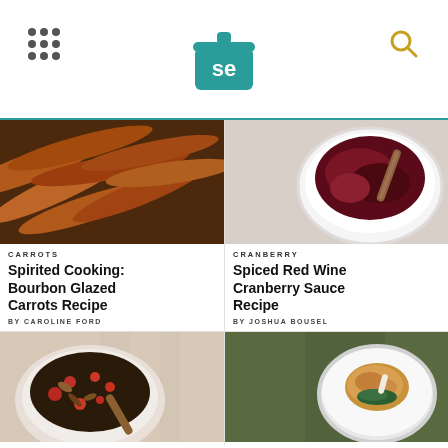Serious Eats logo header with navigation dots and search icon
[Figure (photo): Roasted whole carrots on a baking sheet, orange-brown coloring]
CARROTS
Spirited Cooking: Bourbon Glazed Carrots Recipe
BY CAROLINE FORD
[Figure (photo): White bowl of spiced red wine cranberry sauce with cinnamon stick]
CRANBERRY
Spiced Red Wine Cranberry Sauce Recipe
BY JOSHUA BOUSEL
[Figure (photo): Bowl of cranberry pecan salad with dried fruits]
[Figure (photo): Breaded chicken piece on white circular plate with greens, olive background]